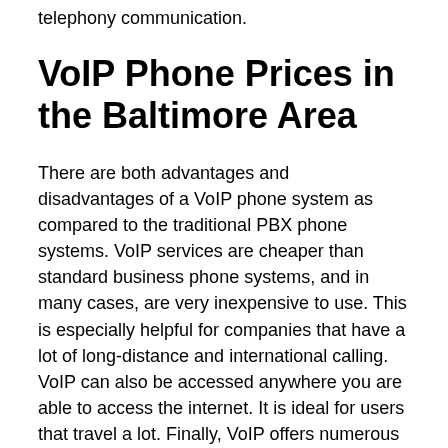telephony communication.
VoIP Phone Prices in the Baltimore Area
There are both advantages and disadvantages of a VoIP phone system as compared to the traditional PBX phone systems. VoIP services are cheaper than standard business phone systems, and in many cases, are very inexpensive to use. This is especially helpful for companies that have a lot of long-distance and international calling. VoIP can also be accessed anywhere you are able to access the internet. It is ideal for users that travel a lot. Finally, VoIP offers numerous features not commonly found in traditional phones, such as multi-party calling, call waiting/forwarding, caller ID, and caller ID blocking. We have local VoIP phone providers in the Baltimore Area that offer these business phone solutions: